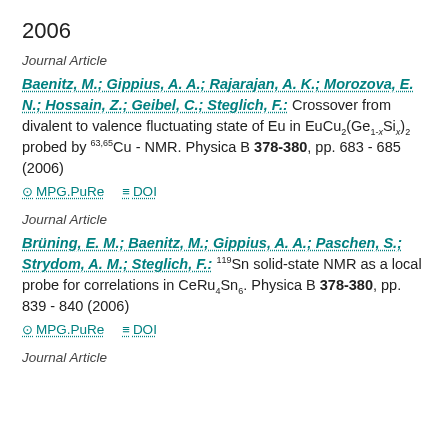2006
Journal Article
Baenitz, M.; Gippius, A. A.; Rajarajan, A. K.; Morozova, E. N.; Hossain, Z.; Geibel, C.; Steglich, F.: Crossover from divalent to valence fluctuating state of Eu in EuCu2(Ge1-xSix)2 probed by 63,65Cu - NMR. Physica B 378-380, pp. 683 - 685 (2006)
MPG.PuRe   DOI
Journal Article
Brüning, E. M.; Baenitz, M.; Gippius, A. A.; Paschen, S.; Strydom, A. M.; Steglich, F.: 119Sn solid-state NMR as a local probe for correlations in CeRu4Sn6. Physica B 378-380, pp. 839 - 840 (2006)
MPG.PuRe   DOI
Journal Article